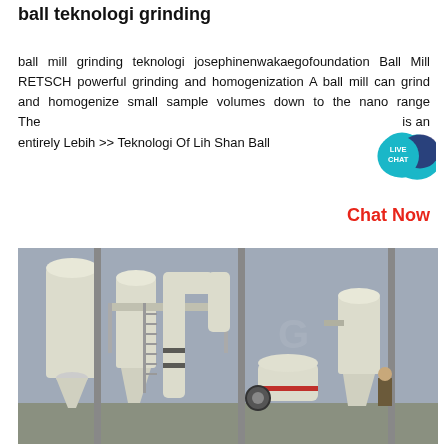ball teknologi grinding
ball mill grinding teknologi josephinenwakaegofoundation Ball Mill RETSCH powerful grinding and homogenization A ball mill can grind and homogenize small sample volumes down to the nano range The is an entirely Lebih >> Teknologi Of Lih Shan Ball
[Figure (infographic): Live Chat badge - teal circular badge with speech bubble containing text LIVE CHAT]
Chat Now
[Figure (photo): Industrial ball mill grinding equipment installation showing large white cyclone separators, pipes, ducting, and machinery outdoors under cloudy sky with a worker visible]